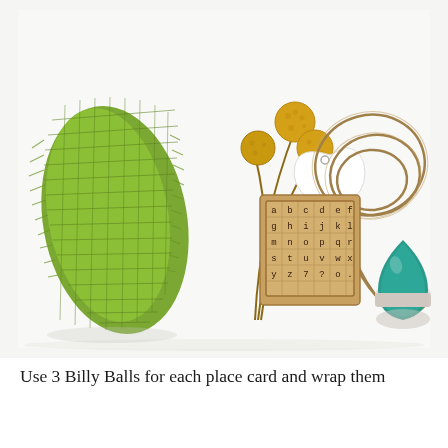[Figure (photo): Flat lay photo on white background showing craft supplies: green burlap/mesh ribbon on left, three yellow billy ball flowers on thin brown stems, a white bird-shaped gift tag, a small wooden alphabet rubber stamp set, coiled natural twine, and a teal teardrop-shaped ink pad.]
Use 3 Billy Balls for each place card and wrap them with jute twine with a piece of burlap on top. C...